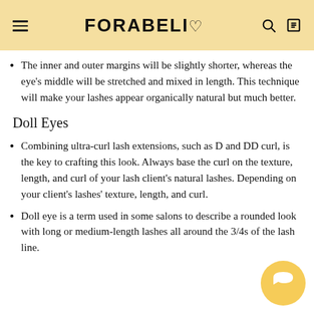FORABELI
The inner and outer margins will be slightly shorter, whereas the eye's middle will be stretched and mixed in length. This technique will make your lashes appear organically natural but much better.
Doll Eyes
Combining ultra-curl lash extensions, such as D and DD curl, is the key to crafting this look. Always base the curl on the texture, length, and curl of your lash client's natural lashes. Depending on your client's lashes' texture, length, and curl.
Doll eye is a term used in some salons to describe a rounded look with long or medium-length lashes all around the 3/4s of the lash line.